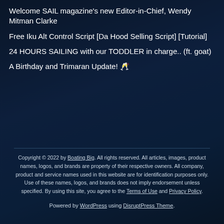Welcome SAIL magazine's new Editor-in-Chief, Wendy Mitman Clarke
Free Iku Alt Control Script [Da Hood Selling Script] [Tutorial]
24 HOURS SAILING with our TODDLER in charge.. (ft. goat)
A Birthday and Trimaran Update! 🥂
Copyright © 2022 by Boating Big. All rights reserved. All articles, images, product names, logos, and brands are property of their respective owners. All company, product and service names used in this website are for identification purposes only. Use of these names, logos, and brands does not imply endorsement unless specified. By using this site, you agree to the Terms of Use and Privacy Policy. Powered by WordPress using DisruptPress Theme.